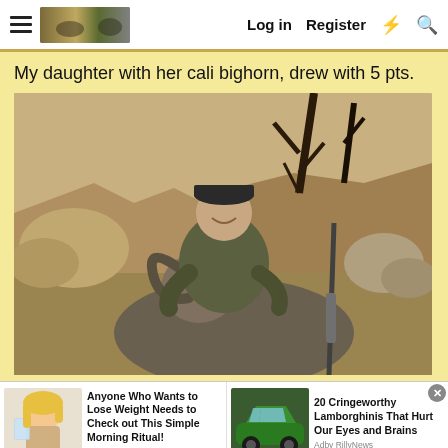Log in  Register
My daughter with her cali bighorn, drew with 5 pts.
[Figure (photo): A young woman smiling, posing outdoors with a harvested California bighorn sheep. She is wearing a cap and camo clothing. The background shows rocky terrain, dry grass, and bare trees.]
[Figure (photo): Ad image: illustrated woman drinking water]
Anyone Who Wants to Lose Weight Needs to Check out This Simple Morning Ritual!
Ad by powerwatchdude.com
[Figure (photo): Ad image: green Lamborghini car]
20 Cringeworthy Lamborghinis That Hurt Our Eyes and Brains
Adby RillyNews